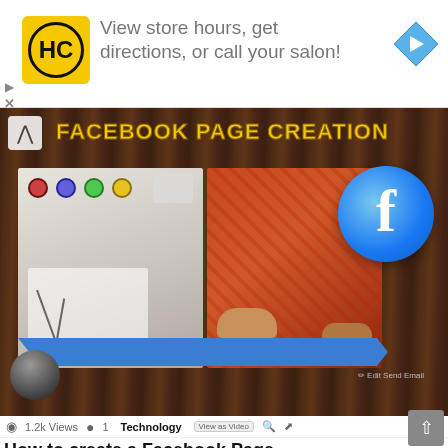[Figure (screenshot): Advertisement banner with HC salon logo, text 'View store hours, get directions, or call your salon!' and a blue navigation arrow icon]
[Figure (screenshot): Facebook Page Creation tutorial thumbnail on dark wood background with yellow bold title text 'FACEBOOK PAGE CREATION', two sewing/fabric photos, Facebook logo circle, and a blue ribbon banner. Below: 1.2k Views, 1 comment, Technology category label and view controls.]
How to create a Facebook Page
Facebook page creation helps the people know about your work and get more sponsors related to your work. It is promoting your brand or shop or boutique to your known ones by creating a Facebook page. You can continuously post about your current work; your meeting can be scheduled.